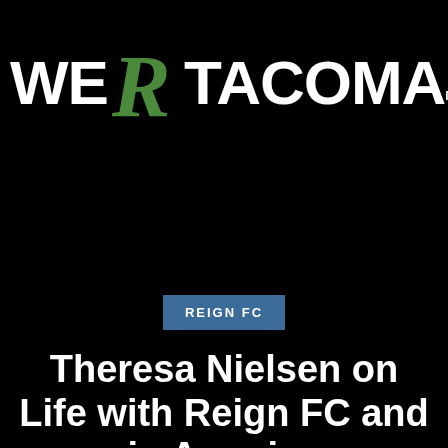[Figure (logo): We R Tacoma logo — white bold text 'WE' and 'TACOMA' with a stylized green cursive R in the center]
[Figure (other): Hamburger menu icon with three horizontal white lines above the word MENU]
REIGN FC
Theresa Nielsen on Life with Reign FC and in America